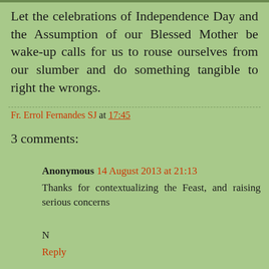Let the celebrations of Independence Day and the Assumption of our Blessed Mother be wake-up calls for us to rouse ourselves from our slumber and do something tangible to right the wrongs.
Fr. Errol Fernandes SJ at 17:45
3 comments:
Anonymous 14 August 2013 at 21:13
Thanks for contextualizing the Feast, and raising serious concerns
N
Reply